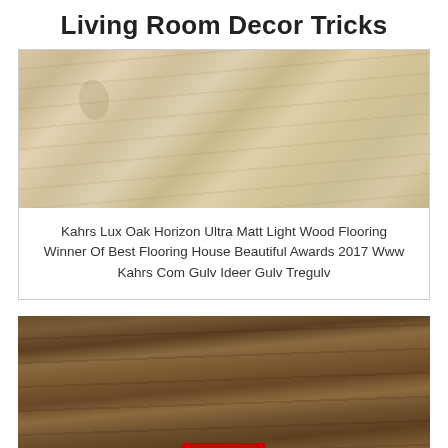Living Room Decor Tricks
[Figure (photo): Light oak wood flooring planks, pale beige/tan color with subtle grain texture]
Kahrs Lux Oak Horizon Ultra Matt Light Wood Flooring Winner Of Best Flooring House Beautiful Awards 2017 Www Kahrs Com Gulv Ideer Gulv Tregulv
[Figure (photo): Dark walnut/brown wood flooring planks with rich grain texture, partially cropped, with a red CLOSE button overlay]